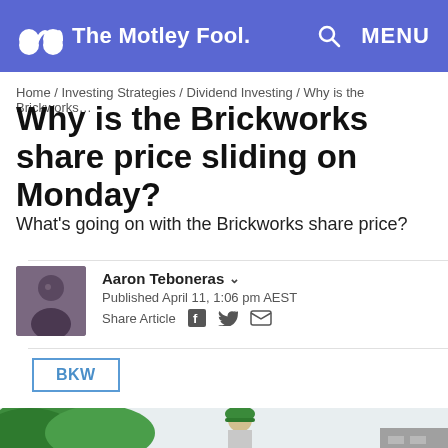The Motley Fool — MENU
Home / Investing Strategies / Dividend Investing / Why is the Brickworks…
Why is the Brickworks share price sliding on Monday?
What's going on with the Brickworks share price?
Aaron Teboneras
Published April 11, 1:06 pm AEST
Share Article
BKW
[Figure (photo): Worker wearing green hard hat at a construction/brickworks site]